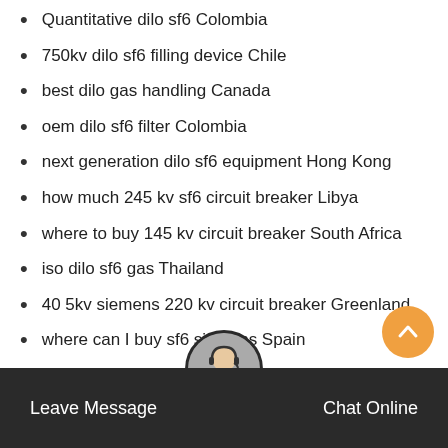Quantitative dilo sf6 Colombia
750kv dilo sf6 filling device Chile
best dilo gas handling Canada
oem dilo sf6 filter Colombia
next generation dilo sf6 equipment Hong Kong
how much 245 kv sf6 circuit breaker Libya
where to buy 145 kv circuit breaker South Africa
iso dilo sf6 gas Thailand
40 5kv siemens 220 kv circuit breaker Greenland
where can I buy sf6 siemens Spain
next generation dilo sf6 multimeter 3-038 Brazil
where can I get sf6 gas is Spain
Leave Message   Chat Online